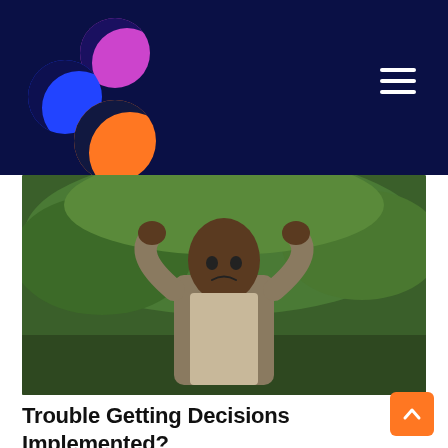[Figure (logo): Three overlapping circles logo: magenta (top right), blue (left), orange (bottom) on dark navy background, with hamburger menu icon on right]
[Figure (photo): A man outdoors holding his head with both hands in a stressed or frustrated gesture, wearing a khaki jacket, with green foliage in the background]
Trouble Getting Decisions Implemented?
Some managers choose to make decisions by themselves and then are frustrated when they…